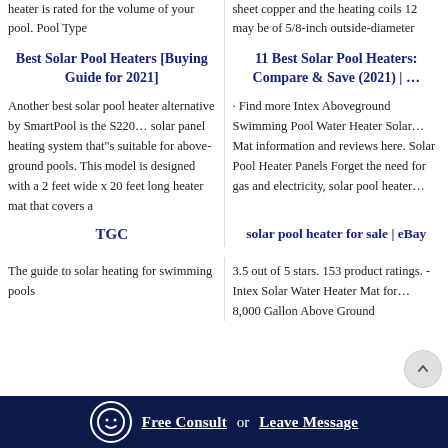heater is rated for the volume of your pool. Pool Type
sheet copper and the heating coils 12 may be of 5/8-inch outside-diameter
Best Solar Pool Heaters [Buying Guide for 2021]
11 Best Solar Pool Heaters: Compare & Save (2021) | …
Another best solar pool heater alternative by SmartPool is the S220… solar panel heating system that"s suitable for above-ground pools. This model is designed with a 2 feet wide x 20 feet long heater mat that covers a
· Find more Intex Aboveground Swimming Pool Water Heater Solar… Mat information and reviews here. Solar Pool Heater Panels Forget the need for gas and electricity, solar pool heater…
TGC
solar pool heater for sale | eBay
The guide to solar heating for swimming pools
3.5 out of 5 stars. 153 product ratings. - Intex Solar Water Heater Mat for… 8,000 Gallon Above Ground
Free Consult  or  Leave Message